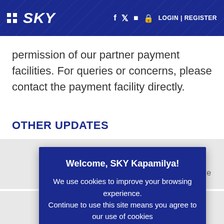SKY — Navigation bar with social icons, LOGIN | REGISTER
permission of our partner payment facilities. For queries or concerns, please contact the payment facility directly.
OTHER UPDATES
SKY boosts its 24/7 customer support system KYLA to service more [nation]wide
can reach [Au]gust 15,
Welcome, SKY Kapamilya! We use cookies to improve your browsing experience. Continue to use this site means you agree to our use of cookies
Tell me more!